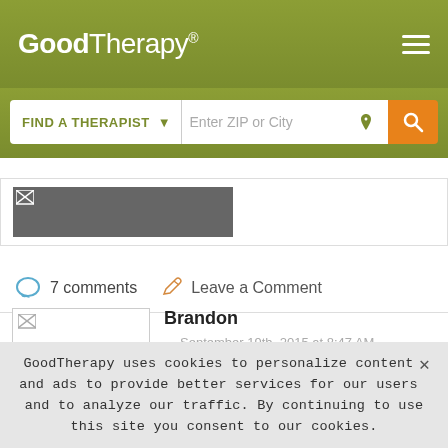GoodTherapy®
FIND A THERAPIST ▾  Enter ZIP or City
[Figure (photo): Partially visible profile photo thumbnail, dark/blurred image]
7 comments   Leave a Comment
Brandon
September 19th, 2015 at 8:47 AM
Having things in writing and right in front of me a go a long way
GoodTherapy uses cookies to personalize content and ads to provide better services for our users and to analyze our traffic. By continuing to use this site you consent to our cookies.